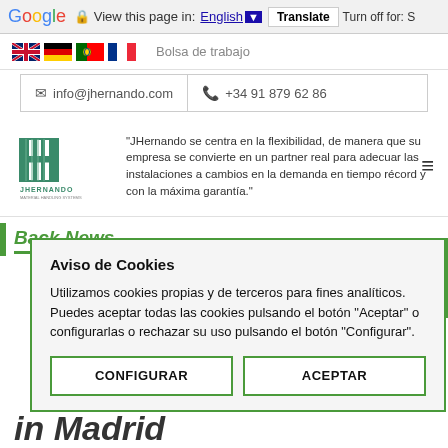Google  View this page in: English ▼  Translate  Turn off for: S
[Figure (screenshot): Navigation bar with country flags (UK, Germany, Portugal, France) and 'Bolsa de trabajo' text]
info@jhernando.com  +34 91 879 62 86
[Figure (logo): JHernando Material Handling Systems logo with stylized H]
"JHernando se centra en la flexibilidad, de manera que su empresa se convierte en un partner real para adecuar las instalaciones a cambios en la demanda en tiempo récord y con la máxima garantía."
Back News
Aviso de Cookies

Utilizamos cookies propias y de terceros para fines analíticos. Puedes aceptar todas las cookies pulsando el botón "Aceptar" o configurarlas o rechazar su uso pulsando el botón "Configurar".
CONFIGURAR   ACEPTAR
in Madrid